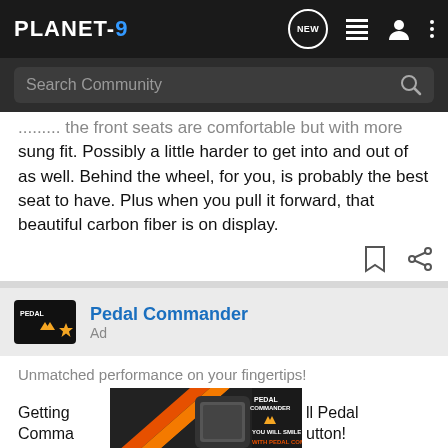PLANET-9 [navigation bar with NEW, list, profile, more icons]
Search Community
sung fit. Possibly a little harder to get into and out of as well. Behind the wheel, for you, is probably the best seat to have. Plus when you pull it forward, that beautiful carbon fiber is on display.
[Figure (screenshot): Bookmark and share action icons]
[Figure (logo): Pedal Commander sponsor logo with star badge]
Pedal Commander
Ad
Unmatched performance on your fingertips!
Getting [Pedal Commander ad image] ll Pedal Comma[nder ad image]utton!